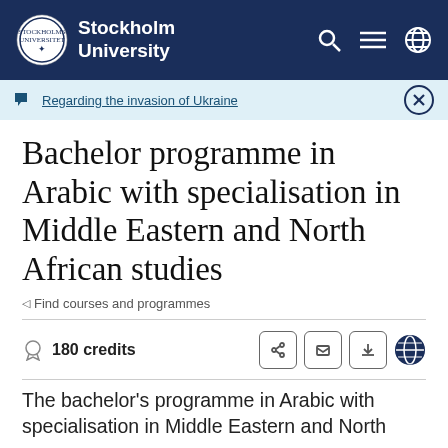Stockholm University
Regarding the invasion of Ukraine
Bachelor programme in Arabic with specialisation in Middle Eastern and North African studies
Find courses and programmes
180 credits
The bachelor's programme in Arabic with specialisation in Middle Eastern and North